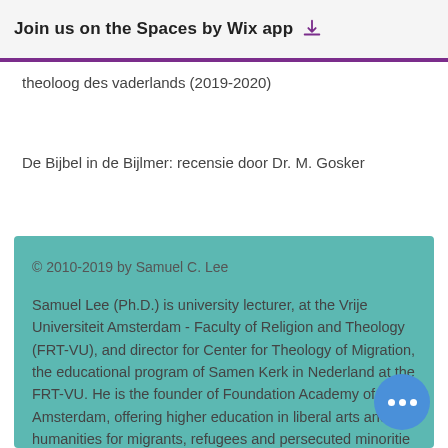Join us on the Spaces by Wix app
theoloog des vaderlands (2019-2020)
De Bijbel in de Bijlmer: recensie door Dr. M. Gosker
© 2010-2019 by Samuel C. Lee
Samuel Lee (Ph.D.) is university lecturer, at the Vrije Universiteit Amsterdam - Faculty of Religion and Theology (FRT-VU), and director for Center for Theology of Migration, the educational program of Samen Kerk in Nederland at the FRT-VU. He is the founder of Foundation Academy of Amsterdam, offering higher education in liberal arts and humanities for migrants, refugees and persecuted minorities